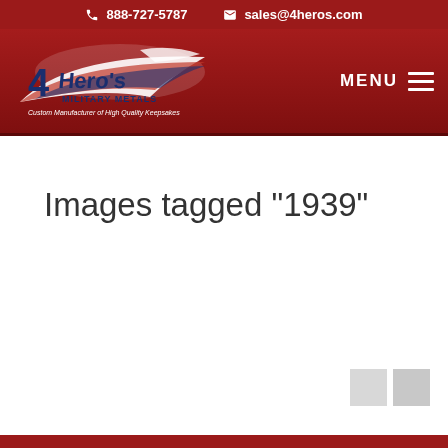888-727-5787  sales@4heros.com
[Figure (logo): 4Hero's Military Metals logo with eagle/flag motif and tagline 'Custom Manufacturer of High Quality Keepsakes']
Images tagged "1939"